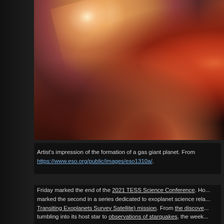[Figure (illustration): Artist's impression of the formation of a gas giant planet. Shows a glowing orange-red planet and star with swirling accretion disk and nebula against a dark background.]
Artist's impression of the formation of a gas giant planet. From https://www.eso.org/public/images/eso1310a/.
Friday marked the end of the 2021 TESS Science Conference. Ho... marked the second in a series dedicated to exoplanet science rela... Transiting Exoplanets Survey Satellite) mission. From the discove... tumbling into its host star to observations of starquakes, the week...